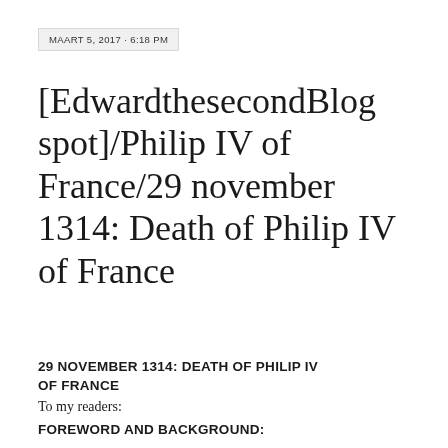MAART 5, 2017 · 6:18 PM
[EdwardthesecondBlog spot]/Philip IV of France/29 november 1314: Death of Philip IV of France
29 NOVEMBER 1314: DEATH OF PHILIP IV OF FRANCE
To my readers:
FOREWORD AND BACKGROUND: